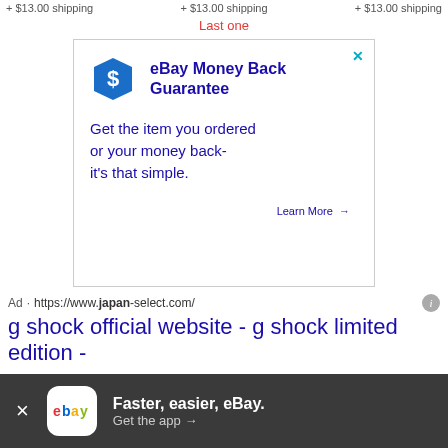+ $13.00 shipping  + $13.00 shipping  + $13.00 shipping
Last one
[Figure (infographic): eBay Money Back Guarantee promotional box with blue shield/dollar icon, headline 'eBay Money Back Guarantee', body text 'Get the item you ordered or your money back- it's that simple.', and a 'Learn More →' link.]
Ad · https://www.japan-select.com/
g shock official website - g shock limited edition -
[Figure (infographic): eBay app download banner at the bottom of screen: dark gray background, white X close button, eBay app icon, text 'Faster, easier, eBay.' and 'Get the app →']